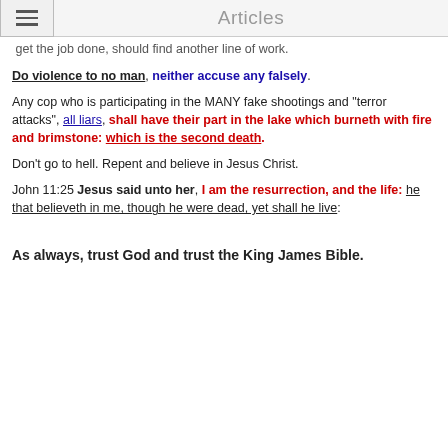Articles
Any cop who thinks that he/she needs to be a brutal thug to get the job done, should find another line of work.
Do violence to no man, neither accuse any falsely.
Any cop who is participating in the MANY fake shootings and "terror attacks", all liars, shall have their part in the lake which burneth with fire and brimstone: which is the second death.
Don't go to hell. Repent and believe in Jesus Christ.
John 11:25 Jesus said unto her, I am the resurrection, and the life: he that believeth in me, though he were dead, yet shall he live:
As always, trust God and trust the King James Bible.